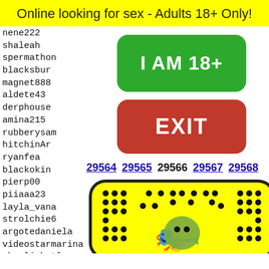Online looking for sex - Adults 18+ Only!
nene222
shaleah
spermathon
blacksbur
magnet888
aldete43
derphouse
amina215
rubberysam
hitchinAr
ryanfea
blackokin
pierp00
piiaaa23
layla_vana
strolchie6
argotedaniela
videostarmarina
sherliebutler
LookinInNC
vrokbo
Q-man4
mrz1in
jennad
stefan
msquee
[Figure (infographic): Green button saying I AM 18+]
[Figure (infographic): Red button saying EXIT]
29564 29565 29566 29567 29568
[Figure (illustration): Snapcode yellow ghost icon with dot pattern border]